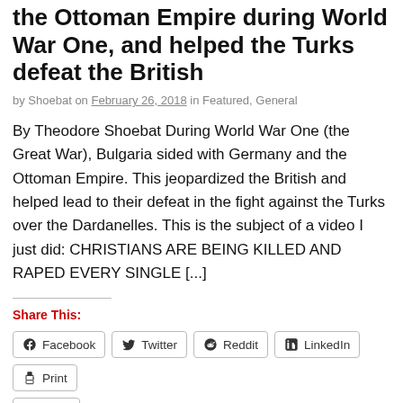the Ottoman Empire during World War One, and helped the Turks defeat the British
by Shoebat on February 26, 2018 in Featured, General
By Theodore Shoebat During World War One (the Great War), Bulgaria sided with Germany and the Ottoman Empire. This jeopardized the British and helped lead to their defeat in the fight against the Turks over the Dardanelles. This is the subject of a video I just did: CHRISTIANS ARE BEING KILLED AND RAPED EVERY SINGLE [...]
Share This:
Facebook
Twitter
Reddit
LinkedIn
Print
More